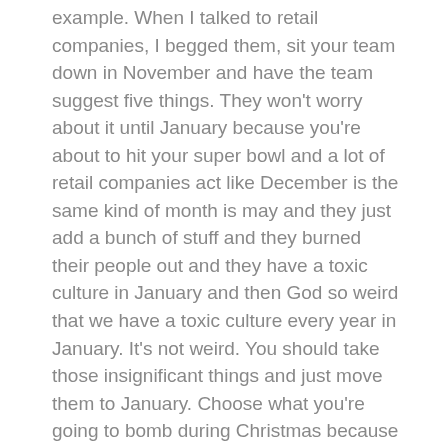example. When I talked to retail companies, I begged them, sit your team down in November and have the team suggest five things. They won't worry about it until January because you're about to hit your super bowl and a lot of retail companies act like December is the same kind of month is may and they just add a bunch of stuff and they burned their people out and they have a toxic culture in January and then God so weird that we have a toxic culture every year in January. It's not weird. You should take those insignificant things and just move them to January. Choose what you're going to bomb during Christmas because it's your superbowl month and you need to crush these other things.
No, for anybody out there is going, okay, I get your book. Sounds enticing. It's the holiday season, you know, and as you want it, you want a tip? The mailman. You want to tip everybody. You're always tipping. You're asking yourself, who should I tip? You want to buy everything? You're going into borders bar, I guess they're going to barnes and noble. Not so much borders. If you're going into a borders, you're probably going into a vacant, a